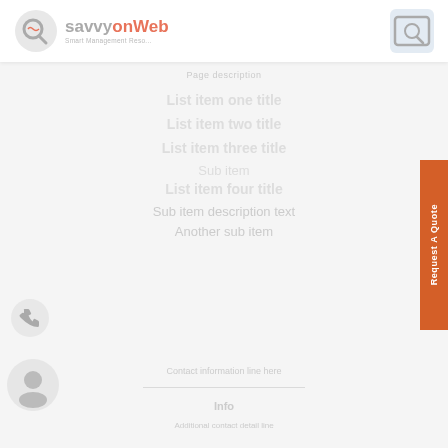[Figure (logo): SavvyonWeb logo with phone/gear icon on left and search icon on right, white header bar]
Page description
List item 1
List item 2
List item 3
List item 4
List item 5
List item 6
List item 7
[Figure (logo): Request A Quote orange vertical tab on right side]
[Figure (illustration): Phone icon on left side]
[Figure (illustration): Circle/user icon on left side]
Contact info line
Additional info